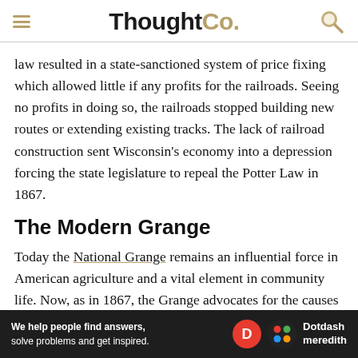ThoughtCo.
law resulted in a state-sanctioned system of price fixing which allowed little if any profits for the railroads. Seeing no profits in doing so, the railroads stopped building new routes or extending existing tracks. The lack of railroad construction sent Wisconsin’s economy into a depression forcing the state legislature to repeal the Potter Law in 1867.
The Modern Grange
Today the National Grange remains an influential force in American agriculture and a vital element in community life. Now, as in 1867, the Grange advocates for the causes of farmers in areas including global free trade and domestic
[Figure (logo): Dotdash Meredith advertisement banner with text: We help people find answers, solve problems and get inspired.]